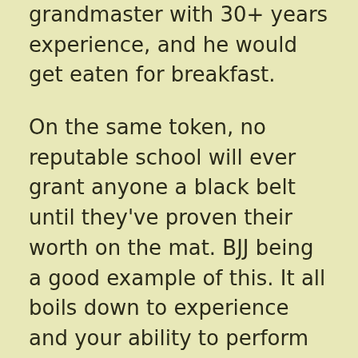grandmaster with 30+ years experience, and he would get eaten for breakfast.
On the same token, no reputable school will ever grant anyone a black belt until they've proven their worth on the mat. BJJ being a good example of this. It all boils down to experience and your ability to perform live with other opponents.
I could relate to this with my own experience having progressed in a year in 2006 from beginner to an assistant